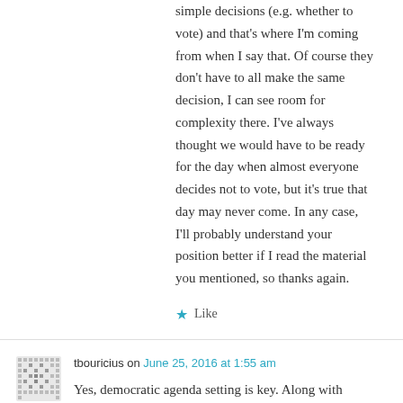simple decisions (e.g. whether to vote) and that's where I'm coming from when I say that. Of course they don't have to all make the same decision, I can see room for complexity there. I've always thought we would have to be ready for the day when almost everyone decides not to vote, but it's true that day may never come. In any case, I'll probably understand your position better if I read the material you mentioned, so thanks again.
★ Like
tbouricius on June 25, 2016 at 1:55 am
Yes, democratic agenda setting is key. Along with rational ignorance it is one of the fatal flaws